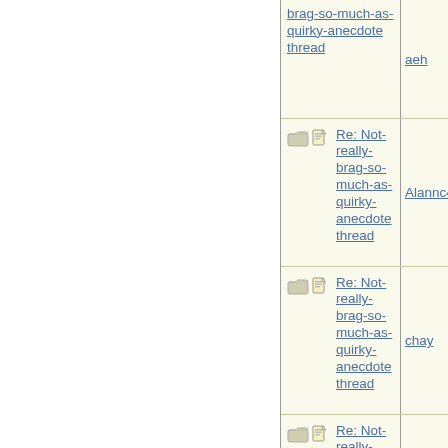| Topic | Author |
| --- | --- |
| Re: Not-really-brag-so-much-as-quirky-anecdote thread | aeh |
| Re: Not-really-brag-so-much-as-quirky-anecdote thread | Alannc44 |
| Re: Not-really-brag-so-much-as-quirky-anecdote thread | chay |
| Re: Not-really-brag-so-much-as-quirky-anecdote thread | Alannc44 |
| Re: Not-really-brag-so-much-as-quirky-anecdote thread | aeh |
| Re: Not-really-brag-so-much-as-quirky-anecdote thread | Alannc44 |
| Re: Not-really-brag-so-much-as-quirky-anecdote thread | aeh |